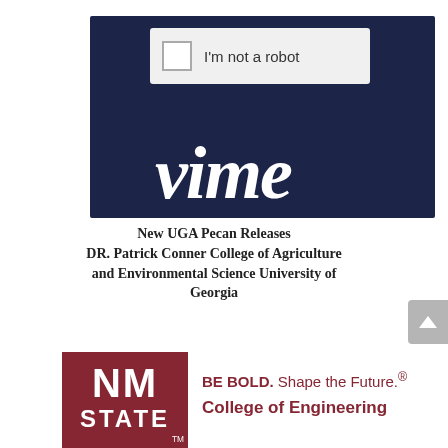[Figure (screenshot): Partial Vimeo video interface showing a CAPTCHA 'I'm not a robot' checkbox overlay on a dark navy background with the Vimeo logo in italic script]
New UGA Pecan Releases
DR. Patrick Conner College of Agriculture and Environmental Science University of Georgia
[Figure (logo): New Mexico State University logo: maroon square with NM STATE text in white, with trademark symbol]
BE BOLD. Shape the Future.® College of Engineering